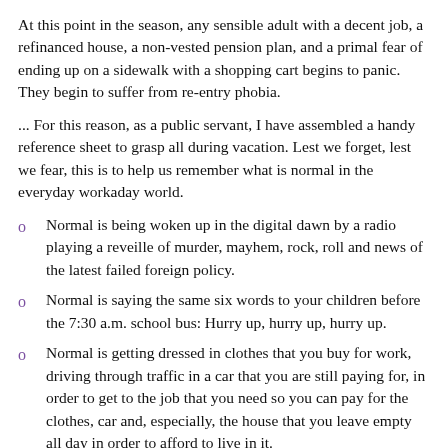At this point in the season, any sensible adult with a decent job, a refinanced house, a non-vested pension plan, and a primal fear of ending up on a sidewalk with a shopping cart begins to panic. They begin to suffer from re-entry phobia.
... For this reason, as a public servant, I have assembled a handy reference sheet to grasp all during vacation. Lest we forget, lest we fear, this is to help us remember what is normal in the everyday workaday world.
Normal is being woken up in the digital dawn by a radio playing a reveille of murder, mayhem, rock, roll and news of the latest failed foreign policy.
Normal is saying the same six words to your children before the 7:30 a.m. school bus: Hurry up, hurry up, hurry up.
Normal is getting dressed in clothes that you buy for work, driving through traffic in a car that you are still paying for, in order to get to the job that you need so you can pay for the clothes, car and, especially, the house that you leave empty all day in order to afford to live in it.
Normal is following a time plan that requires you eat breakfast before you want it because otherwise you might be hungry for